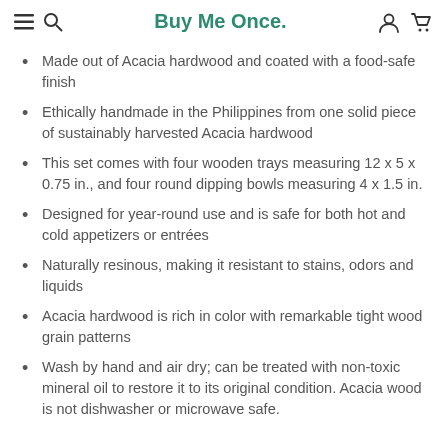Buy Me Once.
Made out of Acacia hardwood and coated with a food-safe finish
Ethically handmade in the Philippines from one solid piece of sustainably harvested Acacia hardwood
This set comes with four wooden trays measuring 12 x 5 x 0.75 in., and four round dipping bowls measuring 4 x 1.5 in.
Designed for year-round use and is safe for both hot and cold appetizers or entrées
Naturally resinous, making it resistant to stains, odors and liquids
Acacia hardwood is rich in color with remarkable tight wood grain patterns
Wash by hand and air dry; can be treated with non-toxic mineral oil to restore it to its original condition. Acacia wood is not dishwasher or microwave safe.